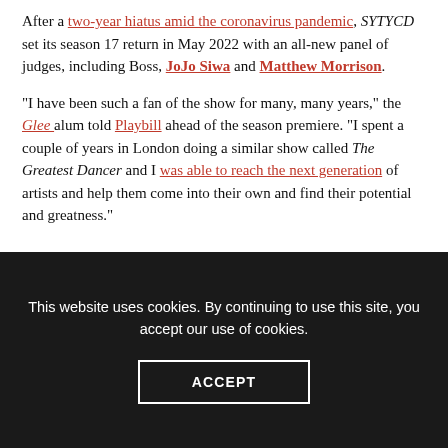After a two-year hiatus amid the coronavirus pandemic, SYTYCD set its season 17 return in May 2022 with an all-new panel of judges, including Boss, JoJo Siwa and Matthew Morrison.
“I have been such a fan of the show for many, many years,” the Glee alum told Playbill ahead of the season premiere. “I spent a couple of years in London doing a similar show called The Greatest Dancer and I was able to reach the next generation of artists and help them come into their own and find their potential and greatness.”
This website uses cookies. By continuing to use this site, you accept our use of cookies.